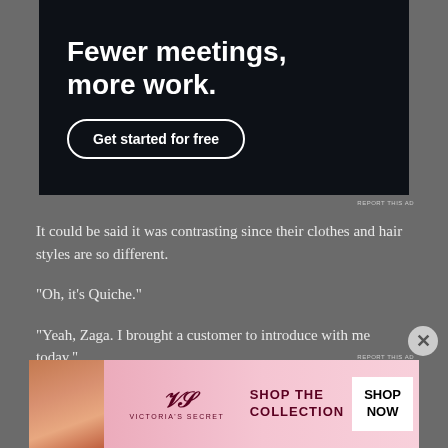[Figure (screenshot): Dark navy advertisement banner with bold white text 'Fewer meetings, more work.' and a 'Get started for free' button with rounded border]
REPORT THIS AD
It could be said it was contrasting since their clothes and hair styles are so different.
“Oh, it’s Quiche.”
“Yeah, Zaga. I brought a customer to introduce with me today.”
[partial line cut off at bottom]
[Figure (screenshot): Victoria's Secret pink advertisement banner with logo, text 'SHOP THE COLLECTION' and 'SHOP NOW' button]